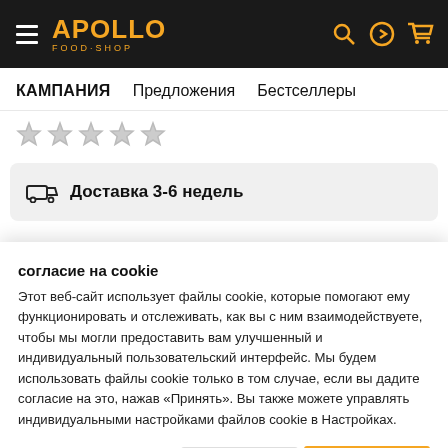APOLLO FOOD·SHOP
КАМПАНИЯ   Предложения   Бестселлеры
[Figure (other): Star rating row with 4 empty/grey stars]
🚚 Доставка 3-6 недель
согласие на cookie
Этот веб-сайт использует файлы cookie, которые помогают ему функционировать и отслеживать, как вы с ним взаимодействуете, чтобы мы могли предоставить вам улучшенный и индивидуальный пользовательский интерфейс. Мы будем использовать файлы cookie только в том случае, если вы дадите согласие на это, нажав «Принять». Вы также можете управлять индивидуальными настройками файлов cookie в Настройках.
предпочтения ∨   ОТКЛОНЯТЬ   Принять все